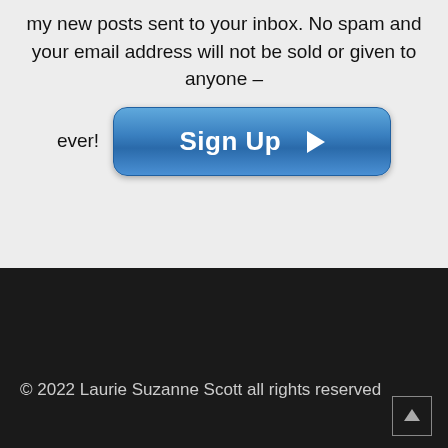my new posts sent to your inbox. No spam and your email address will not be sold or given to anyone – ever!
[Figure (other): Blue rounded Sign Up button with right-pointing arrow]
© 2022 Laurie Suzanne Scott all rights reserved